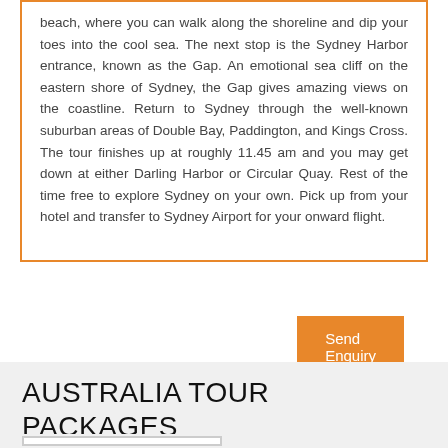beach, where you can walk along the shoreline and dip your toes into the cool sea. The next stop is the Sydney Harbor entrance, known as the Gap. An emotional sea cliff on the eastern shore of Sydney, the Gap gives amazing views on the coastline. Return to Sydney through the well-known suburban areas of Double Bay, Paddington, and Kings Cross. The tour finishes up at roughly 11.45 am and you may get down at either Darling Harbor or Circular Quay. Rest of the time free to explore Sydney on your own. Pick up from your hotel and transfer to Sydney Airport for your onward flight.
Send Enquiry
AUSTRALIA TOUR PACKAGES FROM WINGS TOUR